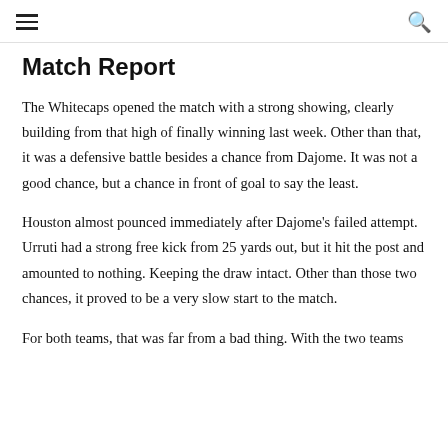≡  🔍
Match Report
The Whitecaps opened the match with a strong showing, clearly building from that high of finally winning last week. Other than that, it was a defensive battle besides a chance from Dajome. It was not a good chance, but a chance in front of goal to say the least.
Houston almost pounced immediately after Dajome's failed attempt. Urruti had a strong free kick from 25 yards out, but it hit the post and amounted to nothing. Keeping the draw intact. Other than those two chances, it proved to be a very slow start to the match.
For both teams, that was far from a bad thing. With the two teams